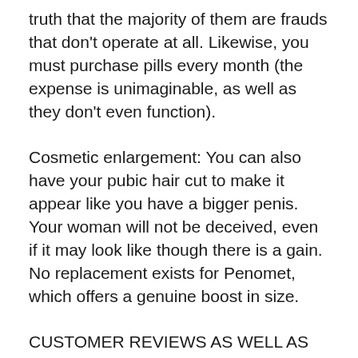truth that the majority of them are frauds that don't operate at all. Likewise, you must purchase pills every month (the expense is unimaginable, as well as they don't even function).
Cosmetic enlargement: You can also have your pubic hair cut to make it appear like you have a bigger penis. Your woman will not be deceived, even if it may look like though there is a gain. No replacement exists for Penomet, which offers a genuine boost in size.
CUSTOMER REVIEWS AS WELL AS RESPONSES.
This penis pump has been very well-reviewed by men throughout the globe, and